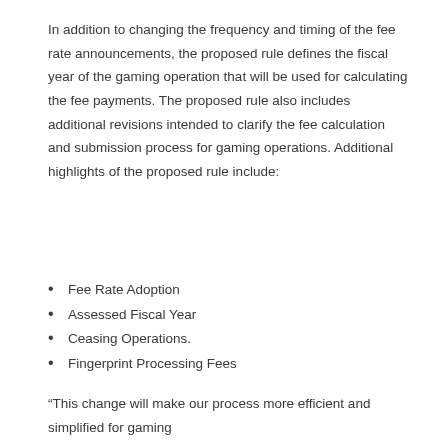In addition to changing the frequency and timing of the fee rate announcements, the proposed rule defines the fiscal year of the gaming operation that will be used for calculating the fee payments. The proposed rule also includes additional revisions intended to clarify the fee calculation and submission process for gaming operations. Additional highlights of the proposed rule include:
Fee Rate Adoption
Assessed Fiscal Year
Ceasing Operations.
Fingerprint Processing Fees
“This change will make our process more efficient and simplified for gaming